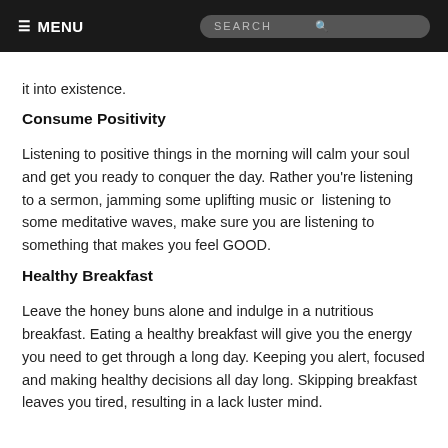≡ MENU   SEARCH
it into existence.
Consume Positivity
Listening to positive things in the morning will calm your soul and get you ready to conquer the day. Rather you're listening to a sermon, jamming some uplifting music or  listening to some meditative waves, make sure you are listening to something that makes you feel GOOD.
Healthy Breakfast
Leave the honey buns alone and indulge in a nutritious breakfast. Eating a healthy breakfast will give you the energy you need to get through a long day. Keeping you alert, focused and making healthy decisions all day long. Skipping breakfast leaves you tired, resulting in a lack luster mind.